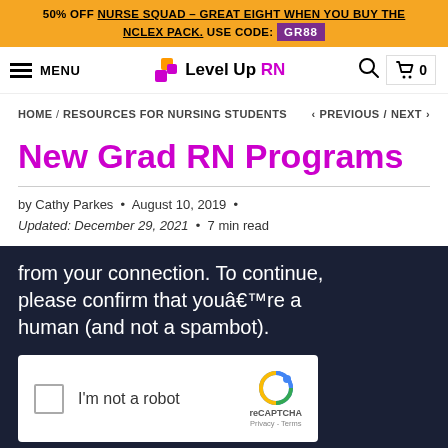50% OFF NURSE SQUAD – GREAT EIGHT WHEN YOU BUY THE NCLEX PACK. USE CODE: GR88
MENU | Level Up RN | search | cart 0
HOME / RESOURCES FOR NURSING STUDENTS < PREVIOUS / NEXT >
New Grad RN Programs
by Cathy Parkes • August 10, 2019 • Updated: December 29, 2021 • 7 min read
[Figure (screenshot): CAPTCHA verification widget on dark navy background showing text 'from your connection. To continue, please confirm that you're a human (and not a spambot).' with a reCAPTCHA checkbox widget below saying 'I'm not a robot']